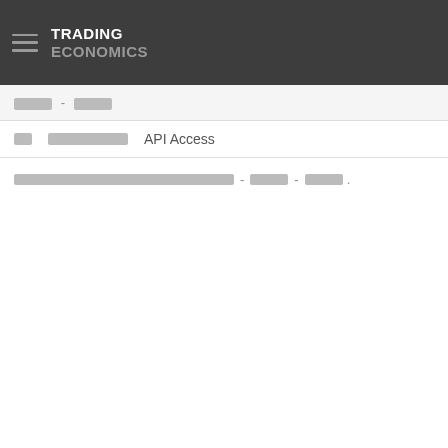TRADING ECONOMICS
████ - ████
██   ██████████   API Access
██████████████████████████████ - ████ - ████.